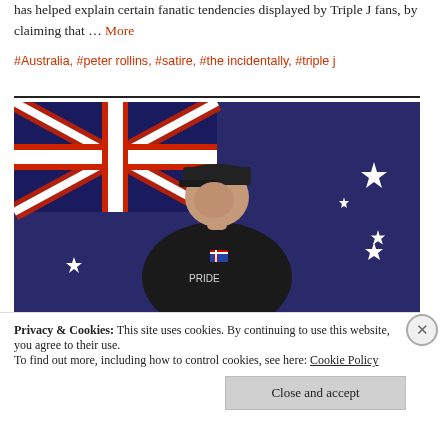has helped explain certain fanatic tendencies displayed by Triple J fans, by claiming that … More
#Australia, #peter rollins, #satire, #the incidentally, #triple j
[Figure (photo): A man wearing a black hoodie and cap stands in front of an Australian flag. He appears to be speaking or recording a video.]
Privacy & Cookies: This site uses cookies. By continuing to use this website, you agree to their use. To find out more, including how to control cookies, see here: Cookie Policy
Close and accept